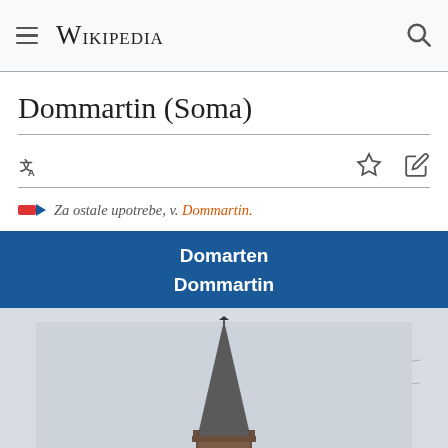Wikipedia
Dommartin (Soma)
Za ostale upotrebe, v. Dommartin.
| Domarten |
| Dommartin |
[Figure (photo): Church tower of Dommartin, Soma - a brick church steeple with pointed spire against a light grey sky]